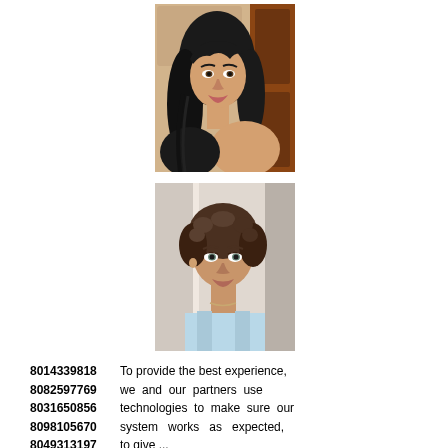[Figure (photo): Portrait photo of a young woman with long dark black hair, wearing dark clothing, posed near a wooden door/wall background.]
[Figure (photo): Portrait photo of a young woman with short curly dark brown hair, wearing a light blue top, posed near a door frame background.]
8014339818  To provide the best experience,
8082597769  we  and  our  partners  use
8031650856  technologies  to  make  sure  our
8098105670  system   works   as   expected,
8049313197  to give ...